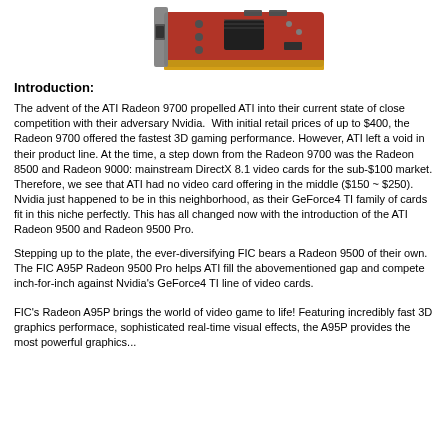[Figure (photo): Partial photo of a red PCIe/AGP graphics card (ATI Radeon) shown at an angle against a white background, showing the PCB, ports, and gold-edge connector.]
Introduction:
The advent of the ATI Radeon 9700 propelled ATI into their current state of close competition with their adversary Nvidia.  With initial retail prices of up to $400, the Radeon 9700 offered the fastest 3D gaming performance. However, ATI left a void in their product line. At the time, a step down from the Radeon 9700 was the Radeon 8500 and Radeon 9000: mainstream DirectX 8.1 video cards for the sub-$100 market. Therefore, we see that ATI had no video card offering in the middle ($150 ~ $250). Nvidia just happened to be in this neighborhood, as their GeForce4 TI family of cards fit in this niche perfectly. This has all changed now with the introduction of the ATI Radeon 9500 and Radeon 9500 Pro.
Stepping up to the plate, the ever-diversifying FIC bears a Radeon 9500 of their own. The FIC A95P Radeon 9500 Pro helps ATI fill the abovementioned gap and compete inch-for-inch against Nvidia's GeForce4 TI line of video cards.
FIC's Radeon A95P brings the world of video game to life! Featuring incredibly fast 3D graphics performace, sophisticated real-time visual effects, the A95P provides the most powerful graphics...